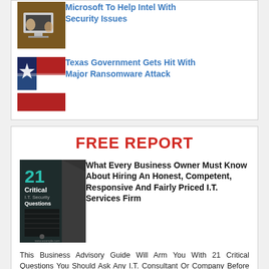[Figure (photo): Thumbnail photo of hands on laptop/tablet, brown tones]
Microsoft To Help Intel With Security Issues
[Figure (photo): Thumbnail photo of Texas flag]
Texas Government Gets Hit With Major Ransomware Attack
FREE REPORT
[Figure (illustration): Book cover: 21 Critical I.T. Security Questions]
What Every Business Owner Must Know About Hiring An Honest, Competent, Responsive And Fairly Priced I.T. Services Firm
This Business Advisory Guide Will Arm You With 21 Critical Questions You Should Ask Any I.T. Consultant Or Company Before Giving Them Access To Your I.T. Systems